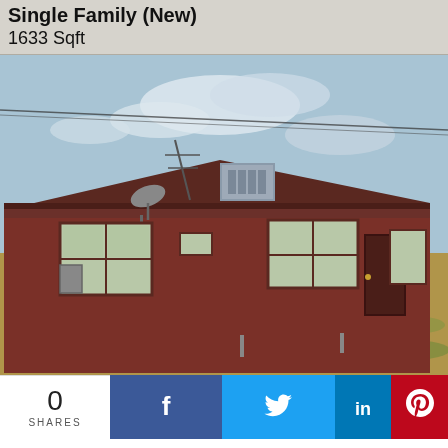Single Family (New)
1633 Sqft
[Figure (photo): Exterior photo of a single-story brick ranch house with brown/red walls, shingled roof, satellite dish, rooftop HVAC unit, multiple windows, set on a dirt/grass lot under a partly cloudy sky.]
0 SHARES
[Figure (other): Social sharing bar with Facebook, Twitter, LinkedIn, and Pinterest buttons]